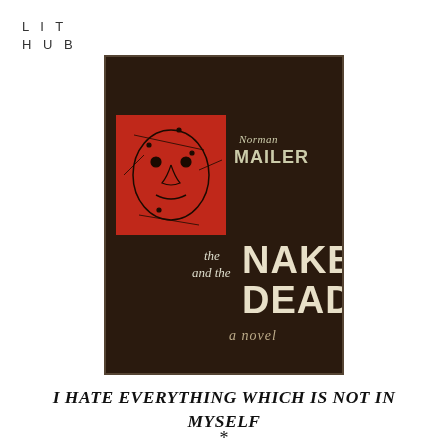LIT HUB
[Figure (photo): Book cover of 'The Naked and the Dead' by Norman Mailer. Dark brown/black background with a red square containing a line-drawn face on the left. Author name 'Norman Mailer' in script/print on upper right. Large bold cream/white text reads 'the and the NAKED DEAD' with 'a novel' in handwritten script below.]
I HATE EVERYTHING WHICH IS NOT IN MYSELF
*